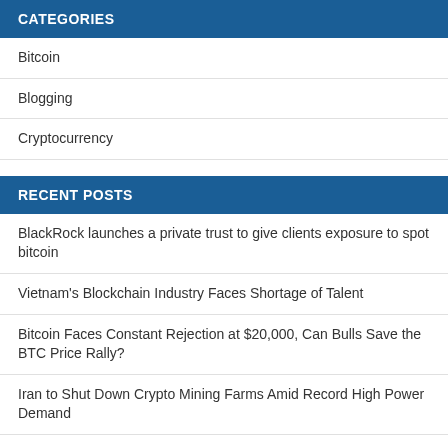CATEGORIES
Bitcoin
Blogging
Cryptocurrency
RECENT POSTS
BlackRock launches a private trust to give clients exposure to spot bitcoin
Vietnam's Blockchain Industry Faces Shortage of Talent
Bitcoin Faces Constant Rejection at $20,000, Can Bulls Save the BTC Price Rally?
Iran to Shut Down Crypto Mining Farms Amid Record High Power Demand
PayPal Now Allows Bitcoin Transfers To External Wallets